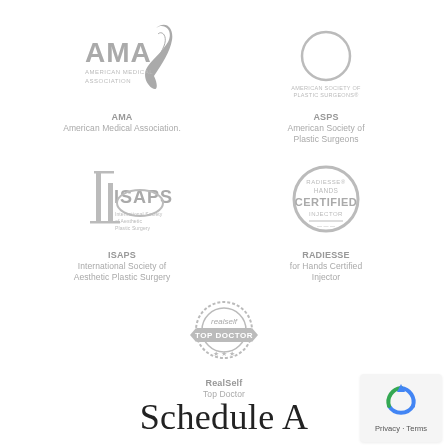[Figure (logo): AMA American Medical Association logo in gray]
AMA
American Medical Association.
[Figure (logo): ASPS American Society of Plastic Surgeons logo - circle outline in gray]
ASPS
American Society of
Plastic Surgeons
[Figure (logo): ISAPS International Society of Aesthetic Plastic Surgery logo in gray]
ISAPS
International Society of
Aesthetic Plastic Surgery
[Figure (logo): RADIESSE for Hands Certified Injector badge/seal in gray]
RADIESSE
for Hands Certified
Injector
[Figure (logo): RealSelf Top Doctor badge/seal in gray]
RealSelf
Top Doctor
Schedule A